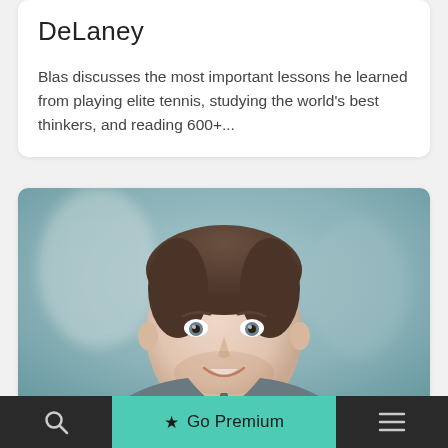DeLaney
Blas discusses the most important lessons he learned from playing elite tennis, studying the world's best thinkers, and reading 600+...
[Figure (photo): Headshot of a smiling young man with short brown hair wearing a grey zip-up hoodie, with a blurred outdoor background.]
How To Learn Skills Faster & Retain More
🔍   ★ Go Premium   ☰